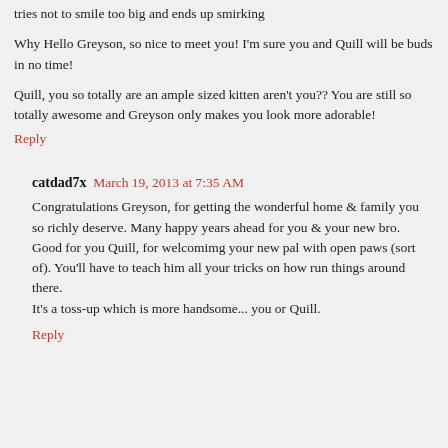tries not to smile too big and ends up smirking
Why Hello Greyson, so nice to meet you! I'm sure you and Quill will be buds in no time!
Quill, you so totally are an ample sized kitten aren't you?? You are still so totally awesome and Greyson only makes you look more adorable!
Reply
catdad7x  March 19, 2013 at 7:35 AM
Congratulations Greyson, for getting the wonderful home & family you so richly deserve. Many happy years ahead for you & your new bro.
Good for you Quill, for welcomimg your new pal with open paws (sort of). You'll have to teach him all your tricks on how run things around there.
It's a toss-up which is more handsome... you or Quill.
Reply